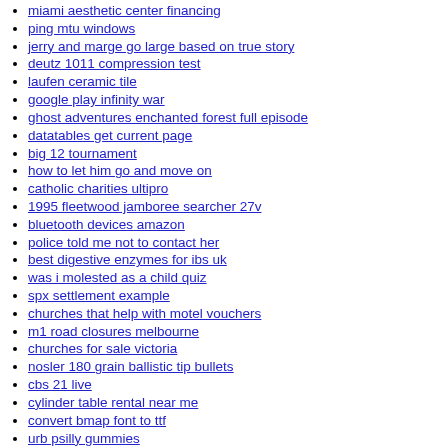miami aesthetic center financing
ping mtu windows
jerry and marge go large based on true story
deutz 1011 compression test
laufen ceramic tile
google play infinity war
ghost adventures enchanted forest full episode
datatables get current page
big 12 tournament
how to let him go and move on
catholic charities ultipro
1995 fleetwood jamboree searcher 27v
bluetooth devices amazon
police told me not to contact her
best digestive enzymes for ibs uk
was i molested as a child quiz
spx settlement example
churches that help with motel vouchers
m1 road closures melbourne
churches for sale victoria
nosler 180 grain ballistic tip bullets
cbs 21 live
cylinder table rental near me
convert bmap font to ttf
urb psilly gummies